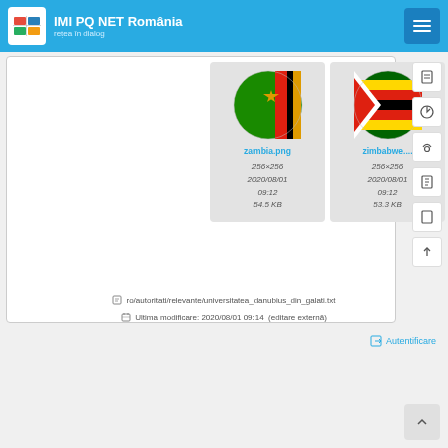IMI PQ NET România — rețea în dialog
[Figure (screenshot): Two file cards: zambia.png (256×256, 2020/08/01 09:12, 54.5 KB) and zimbabwe... (256×256, 2020/08/01 09:12, 53.3 KB), each showing a circular country flag icon]
ro/autoritati/relevante/universitatea_danubius_din_galati.txt
Ultima modificare: 2020/08/01 09:14  (editare externă)
Autentificare